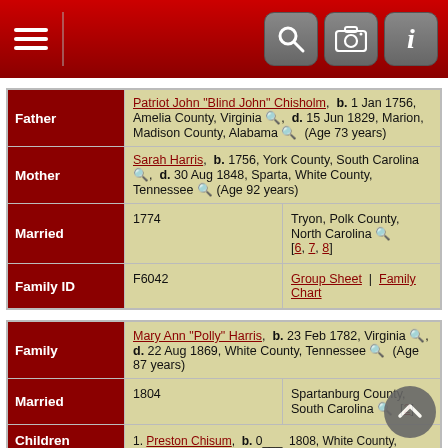[Figure (screenshot): Mobile app navigation bar with hamburger menu icon on left and search, camera, info icons on right, dark red background]
| Father | Patriot John "Blind John" Chisholm, b. 1 Jan 1756, Amelia County, Virginia, d. 15 Jun 1829, Marion, Madison County, Alabama (Age 73 years) |
| Mother | Sarah Harris, b. 1756, York County, South Carolina, d. 30 Aug 1848, Sparta, White County, Tennessee (Age 92 years) |
| Married | 1774 | Tryon, Polk County, North Carolina [6, 7, 8] |
| Family ID | F6042 | Group Sheet | Family Chart |
| Family | Mary Ann "Polly" Harris, b. 23 Feb 1782, Virginia, d. 22 Aug 1869, White County, Tennessee (Age 87 years) |
| Married | 1804 | Spartanburg County, South Carolina [2] |
| Children | 1. Preston Chisum, b. 0___ 1808, White County, Tennessee
2. Overton DeWeese Chisam, b. 11 Feb 1811, (White County) Tennessee, d. 5 Jan 1883, Walling, White County, Tennessee (Age 71 years) |